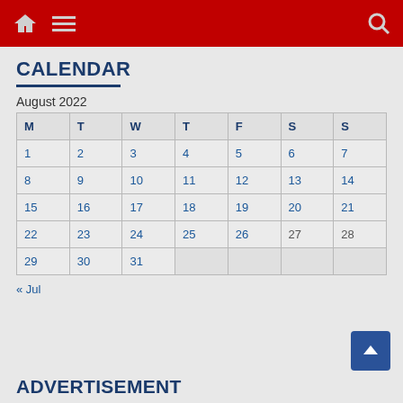Navigation bar with home, menu, and search icons
CALENDAR
August 2022
| M | T | W | T | F | S | S |
| --- | --- | --- | --- | --- | --- | --- |
| 1 | 2 | 3 | 4 | 5 | 6 | 7 |
| 8 | 9 | 10 | 11 | 12 | 13 | 14 |
| 15 | 16 | 17 | 18 | 19 | 20 | 21 |
| 22 | 23 | 24 | 25 | 26 | 27 | 28 |
| 29 | 30 | 31 |  |  |  |  |
« Jul
ADVERTISEMENT